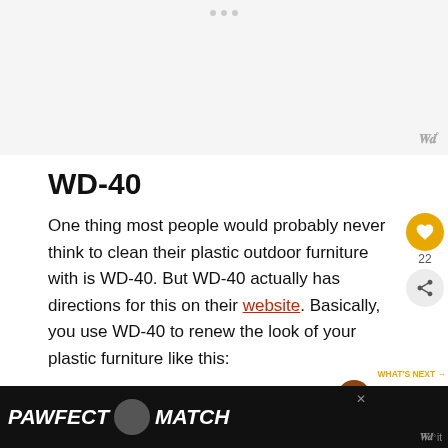[Figure (other): Gray placeholder image area at top of page with three dots/indicators at the top center and a 'W' logo icon at bottom right]
WD-40
One thing most people would probably never think to clean their plastic outdoor furniture with is WD-40. But WD-40 actually has directions for this on their website. Basically, you use WD-40 to renew the look of your plastic furniture like this:
1. Clean your furniture well and allow it to dry.
[Figure (screenshot): Advertisement banner at the bottom: PAWFECT MATCH with a cat photo, close button, and W logo]